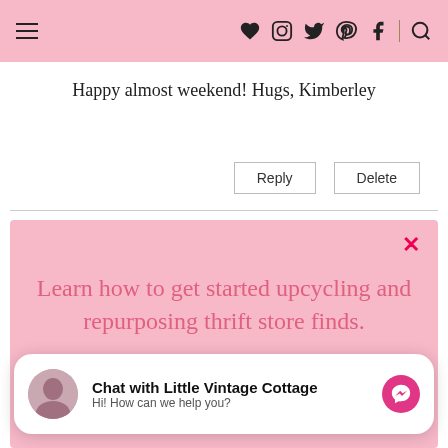Navigation header with hamburger menu and social icons
Happy almost weekend! Hugs, Kimberley
Reply  Delete
[Figure (screenshot): Pink popup overlay with text 'Learn how to get started upcycling and repurposing thrift store finds.' and a pink GET THE FREE GUIDE button]
[Figure (screenshot): Chat widget with avatar, 'Chat with Little Vintage Cottage', 'Hi! How can we help you?' and Messenger icon]